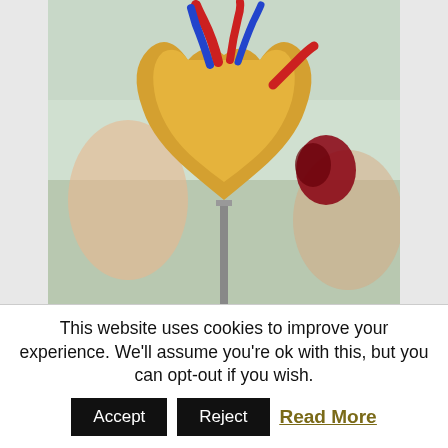[Figure (photo): Anatomical heart model on a stand, colorful with yellow, orange, red and blue vessels, on a blurred background]
Protecting your heart often requires a series of lifestyle changes that most people either refuse to make, don't know they need to make or simply lack the time and money to make. Click on the image to continue reading. #heart #health #hearthealth
This website uses cookies to improve your experience. We'll assume you're ok with this, but you can opt-out if you wish.
Accept | Reject | Read More